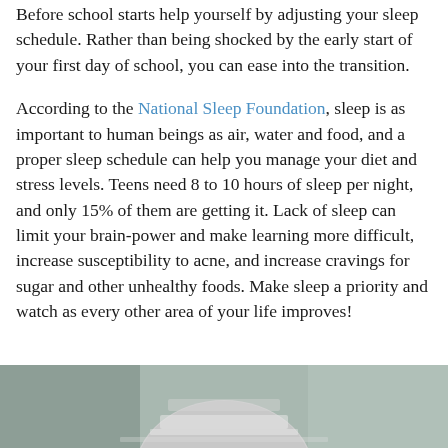Before school starts help yourself by adjusting your sleep schedule. Rather than being shocked by the early start of your first day of school, you can ease into the transition.
According to the National Sleep Foundation, sleep is as important to human beings as air, water and food, and a proper sleep schedule can help you manage your diet and stress levels. Teens need 8 to 10 hours of sleep per night, and only 15% of them are getting it. Lack of sleep can limit your brain-power and make learning more difficult, increase susceptibility to acne, and increase cravings for sugar and other unhealthy foods. Make sleep a priority and watch as every other area of your life improves!
[Figure (photo): Bottom portion of a photo showing a person, partially cropped, with blurred background.]